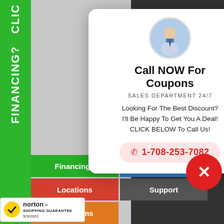[Figure (screenshot): Website popup modal with agent photo, call to action, phone number, navigation buttons, Norton shopping guarantee badge, and green sidebar with FINANCING? CLICK text]
FINANCING?
CLICK
Call NOW For Coupons
SALES DEPARTMENT 24/7
Looking For The Best Discount?
I'll Be Happy To Get You A Deal!
CLICK BELOW To Call Us!
1-708-253-7082
Financing?
Make Offer
Locations
Support
New Items
[Figure (logo): Norton Shopping Guarantee badge with checkmark and date 9/3/2022]